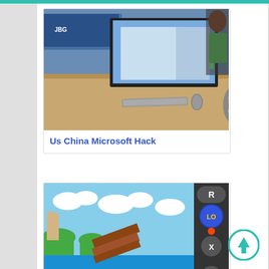[Figure (photo): Photo of a Microsoft desktop computer setup on a store display counter with keyboard, mouse, monitor, and headphones]
Us China Microsoft Hack
[Figure (screenshot): Screenshot of Super Mario 64 DS multiplayer ROM hack showing green character on checkered floor with game controller overlay]
Super Mario 64 Ds Multiplayer Rom Hack